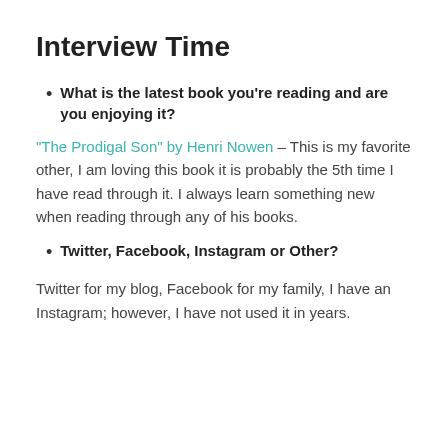Interview Time
What is the latest book you're reading and are you enjoying it?
“The Prodigal Son” by Henri Nowen – This is my favorite other, I am loving this book it is probably the 5th time I have read through it. I always learn something new when reading through any of his books.
Twitter, Facebook, Instagram or Other?
Twitter for my blog, Facebook for my family, I have an Instagram; however, I have not used it in years.